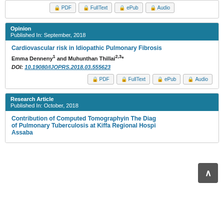Opinion
Published In: September, 2018
Cardiovascular risk in Idiopathic Pulmonary Fibrosis
Emma Denneny¹ and Muhunthan Thillai²,³*
DOI: 10.19080/IJOPRS.2018.03.555623
Research Article
Published In: October, 2018
Contribution of Computed Tomographyin The Diagnosis of Pulmonary Tuberculosis at Kiffa Regional Hospital Assaba